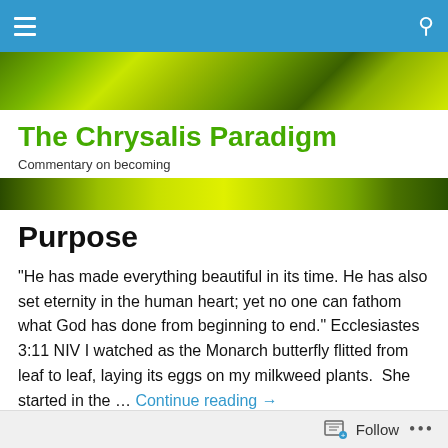Navigation bar with menu and search icons
[Figure (photo): Green nature/leaf background hero image (top)]
The Chrysalis Paradigm
Commentary on becoming
[Figure (photo): Green nature/leaf background hero image (bottom)]
Purpose
"He has made everything beautiful in its time. He has also set eternity in the human heart; yet no one can fathom what God has done from beginning to end." Ecclesiastes 3:11 NIV I watched as the Monarch butterfly flitted from leaf to leaf, laying its eggs on my milkweed plants.  She started in the … Continue reading →
Follow …